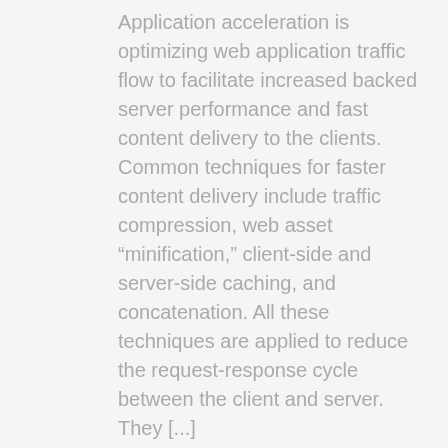Application acceleration is optimizing web application traffic flow to facilitate increased backed server performance and fast content delivery to the clients. Common techniques for faster content delivery include traffic compression, web asset “minification,” client-side and server-side caching, and concatenation. All these techniques are applied to reduce the request-response cycle between the client and server. They [...]
Which is the Best Online Logo Maker?
Your logo can be made in a variety of ways. A logo design contest, a freelancer, a design firm, or an